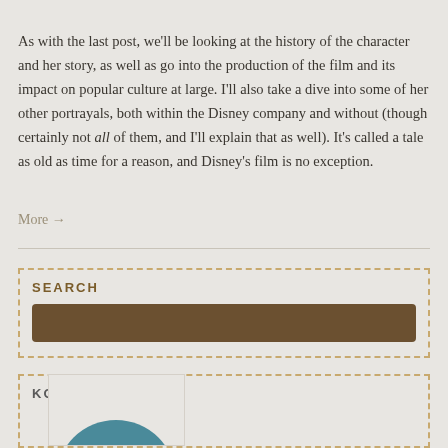As with the last post, we'll be looking at the history of the character and her story, as well as go into the production of the film and its impact on popular culture at large. I'll also take a dive into some of her other portrayals, both within the Disney company and without (though certainly not all of them, and I'll explain that as well). It's called a tale as old as time for a reason, and Disney's film is no exception.
More →
SEARCH
KO-FI
[Figure (illustration): Partial circular teal/blue-grey shape visible at bottom of page within Ko-Fi widget]